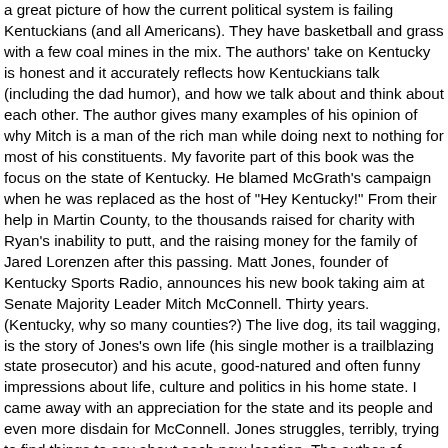a great picture of how the current political system is failing Kentuckians (and all Americans). They have basketball and grass with a few coal mines in the mix. The authors' take on Kentucky is honest and it accurately reflects how Kentuckians talk (including the dad humor), and how we talk about and think about each other. The author gives many examples of his opinion of why Mitch is a man of the rich man while doing next to nothing for most of his constituents. My favorite part of this book was the focus on the state of Kentucky. He blamed McGrath's campaign when he was replaced as the host of "Hey Kentucky!" From their help in Martin County, to the thousands raised for charity with Ryan's inability to putt, and the raising money for the family of Jared Lorenzen after this passing. Matt Jones, founder of Kentucky Sports Radio, announces his new book taking aim at Senate Majority Leader Mitch McConnell. Thirty years. (Kentucky, why so many counties?) The live dog, its tail wagging, is the story of Jones's own life (his single mother is a trailblazing state prosecutor) and his acute, good-natured and often funny impressions about life, culture and politics in his home state. I came away with an appreciation for the state and its people and even more disdain for McConnell. Jones struggles, terribly, trying to find things to say about each new location. The author of "Mitch, Please! Matt Jones, a prominent liberal sports radio host from